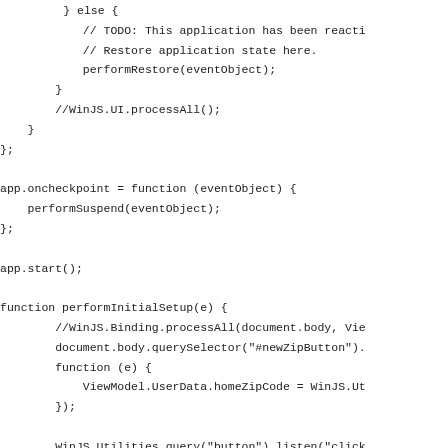} else {
    // TODO: This application has been reacti
    // Restore application state here.
    performRestore(eventObject);
}
//WinJS.UI.processAll();
}
};

app.oncheckpoint = function (eventObject) {
    performSuspend(eventObject);
};

app.start();

function performInitialSetup(e) {
        //WinJS.Binding.processAll(document.body, Vie
        document.body.querySelector("#newZipButton").
        function (e) {
            ViewModel.UserData.homeZipCode = WinJS.Ut
        });

        WinJS.Utilities.query("button").listen("click
            if (this.id == "addItem") {
                ViewModel.DynamicData.addItem("Ice cr
            } else if (this.id == "removeItem") {
                ViewModel.DynamicData.getItems().pop(